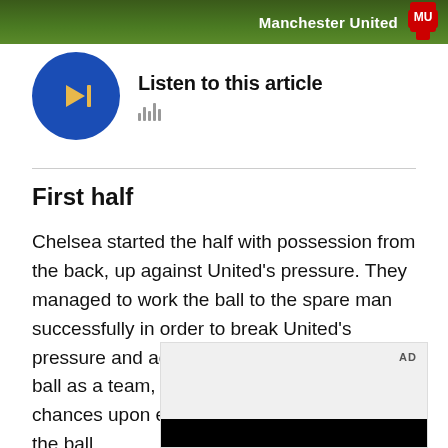Manchester United
[Figure (other): Audio player button: blue circular play button with golden play icon and waveform icon]
Listen to this article
First half
Chelsea started the half with possession from the back, up against United's pressure. They managed to work the ball to the spare man successfully in order to break United's pressure and advance into midfield with the ball as a team, before attempting to create chances upon establishing their position with the ball.
[Figure (other): Advertisement placeholder box with AD label and black strip at bottom]